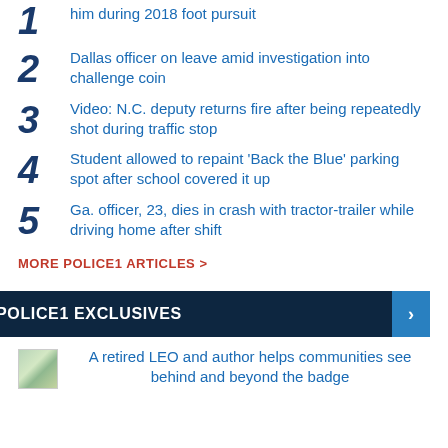1 him during 2018 foot pursuit
2 Dallas officer on leave amid investigation into challenge coin
3 Video: N.C. deputy returns fire after being repeatedly shot during traffic stop
4 Student allowed to repaint 'Back the Blue' parking spot after school covered it up
5 Ga. officer, 23, dies in crash with tractor-trailer while driving home after shift
MORE POLICE1 ARTICLES >
POLICE1 EXCLUSIVES
A retired LEO and author helps communities see behind and beyond the badge